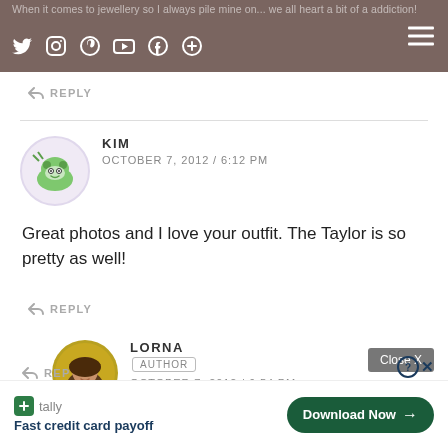When it comes to jewellery so I always pile mine on... we all heart a bit of a addiction!
REPLY
KIM
OCTOBER 7, 2012 / 6:12 PM
Great photos and I love your outfit. The Taylor is so pretty as well!
REPLY
LORNA
AUTHOR
OCTOBER 7, 2012 / 6:54 PM
Thanks Kim!
REP
[Figure (screenshot): Advertisement: Tally app - Fast credit card payoff with Download Now button and Close X button]